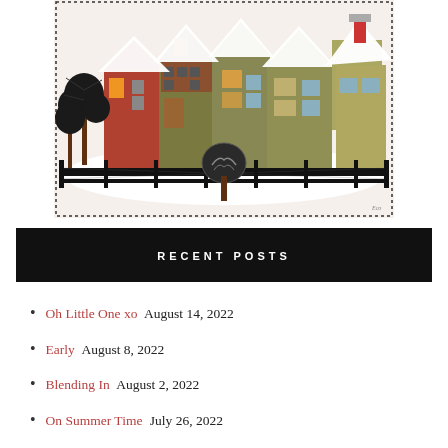[Figure (illustration): Folk art style illustration of colorful snow-covered houses/buildings with bare dark trees on the left, a decorative fence in the foreground with a tree motif in the center, all enclosed in a dotted border.]
RECENT POSTS
Oh Little One xo August 14, 2022
Early August 8, 2022
Blending In August 2, 2022
On Summer Time July 26, 2022
Joke's On Me July 13, 2022